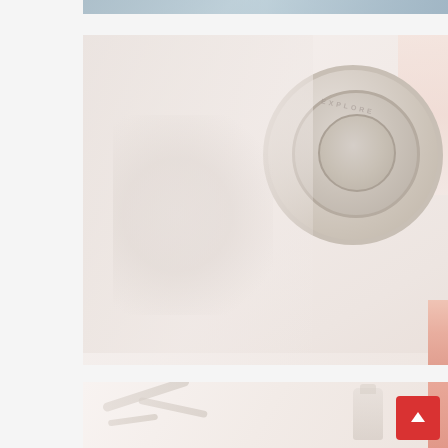[Figure (photo): Top portion of a fitness/gym photo, partially visible at the top edge of the page — appears to show gym equipment or similar.]
[Figure (photo): A very faded/washed-out fitness photo showing a person lifting a dumbbell weight. The dumbbell plate is visible on the right side with circular lettering. The image has a very light, nearly white appearance with subtle pink accents on the right edge.]
[Figure (photo): Partially visible fitness photo at the bottom of the page. Shows what appears to be a rope or cable and a bottle shape, very faded/washed-out. A red scroll-to-top arrow button overlaps the bottom-right corner.]